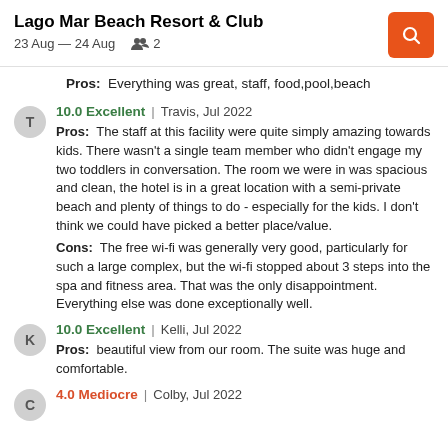Lago Mar Beach Resort & Club
23 Aug — 24 Aug  2
Pros: Everything was great, staff, food,pool,beach
10.0 Excellent | Travis, Jul 2022
Pros: The staff at this facility were quite simply amazing towards kids. There wasn't a single team member who didn't engage my two toddlers in conversation. The room we were in was spacious and clean, the hotel is in a great location with a semi-private beach and plenty of things to do - especially for the kids. I don't think we could have picked a better place/value.
Cons: The free wi-fi was generally very good, particularly for such a large complex, but the wi-fi stopped about 3 steps into the spa and fitness area. That was the only disappointment. Everything else was done exceptionally well.
10.0 Excellent | Kelli, Jul 2022
Pros: beautiful view from our room. The suite was huge and comfortable.
4.0 Mediocre | Colby, Jul 2022